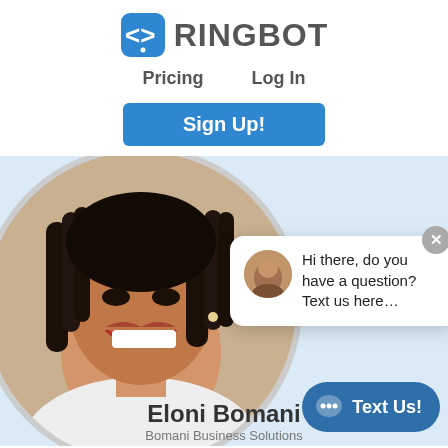[Figure (logo): RingBot logo with blue icon showing angle brackets and a dot pattern, with bold gray text RINGBOT]
Pricing    Log In
Sign Up!
[Figure (photo): Screenshot of RingBot chat widget over a light blue background, showing a circular photo of a smiling woman with dreadlocks, a chat popup with a female avatar and the message 'Hi there, do you have a question? Text us here...', a close button, and a 'Text Us!' button at the bottom right. Below the circle shows text 'Eloni Bomani' and 'Bomani Business Solutions'.]
Hi there, do you have a question? Text us here...
Text Us!
Eloni Bomani
Bomani Business Solutions